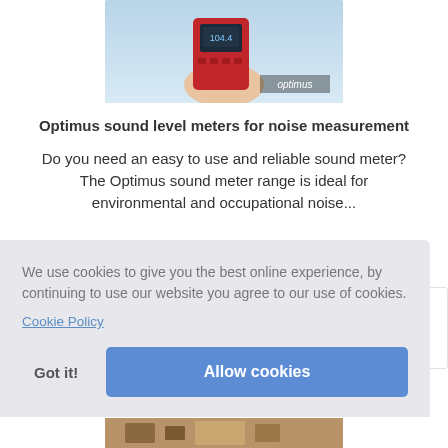[Figure (photo): Photo of a person holding a red Optimus sound level meter device, with 'optimus' branding visible in the lower right corner of the image.]
Optimus sound level meters for noise measurement
Do you need an easy to use and reliable sound meter? The Optimus sound meter range is ideal for environmental and occupational noise...
We use cookies to give you the best online experience, by continuing to use our website you agree to our use of cookies.
Cookie Policy
Got it!
Allow cookies
[Figure (photo): Partial photo visible at the bottom of the page, appears to show a product or device on a wooden surface.]